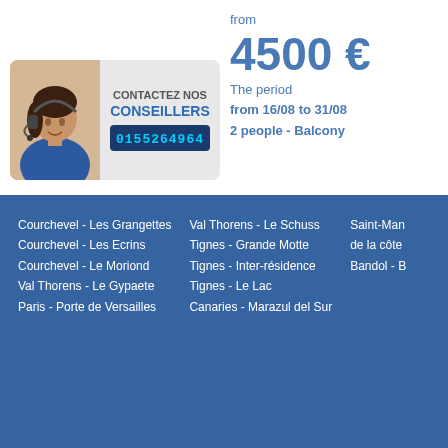from
4500 €
The period
from 16/08 to 31/08
2 people - Balcony
[Figure (photo): Customer service advisor photo with headset, next to CONTACTEZ NOS CONSEILLERS text and phone number 0155264964]
Courchevel - Les Grangettes
Courchevel - Les Ecrins
Courchevel - Le Moriond
Val Thorens - Le Gypaete
Paris - Porte de Versailles
Val Thorens - Le Schuss
Tignes - Grande Motte
Tignes - Inter-résidence
Tignes - Le Lac
Canaries - Marazul del Sur
Saint-Man... de la côte...
Bandol - B...